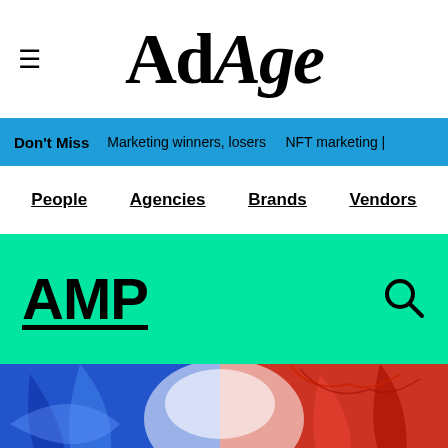AdAge
Don't Miss  Marketing winners, losers  NFT marketing |
People  Agencies  Brands  Vendors
AMP
[Figure (photo): Abstract swirling blue and red paint/ink in water background image with text overlay 'OWN YOUR STORY ON AD AGE AMP' and two buttons: 'Log in' and 'Sign up now']